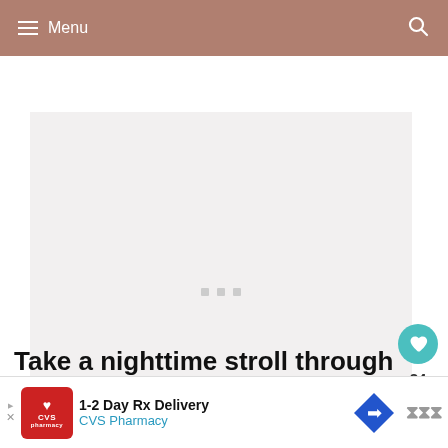Menu
[Figure (photo): Large image placeholder area with light gray background and three small gray loading squares in the center, with a teal heart/like button (24 likes) and a white share button on the right side, and a 'What's Next' card showing '2 Days in Rome: An E...' at the bottom right]
Take a nighttime stroll through
[Figure (other): CVS Pharmacy advertisement banner: '1-2 Day Rx Delivery' with CVS Pharmacy logo, a blue diamond-shaped arrow icon, and brand icon]